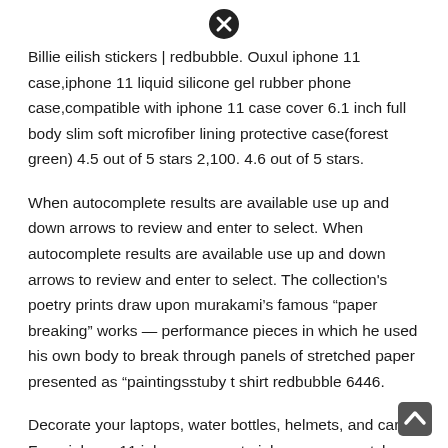[Figure (other): Close/cancel button icon (circle with X) at top center of page]
Billie eilish stickers | redbubble. Ouxul iphone 11 case,iphone 11 liquid silicone gel rubber phone case,compatible with iphone 11 case cover 6.1 inch full body slim soft microfiber lining protective case(forest green) 4.5 out of 5 stars 2,100. 4.6 out of 5 stars.
When autocomplete results are available use up and down arrows to review and enter to select. When autocomplete results are available use up and down arrows to review and enter to select. The collection's poetry prints draw upon murakami’s famous “paper breaking” works — performance pieces in which he used his own body to break through panels of stretched paper presented as “paintingsstuby t shirt redbubble 6446.
Decorate your laptops, water bottles, helmets, and cars. From iphone 11 iphone cases, to iphone xs max styles and pretty personalised phone cases too, skinnydip london is the only place you need to look to find a new h⊗me for your phone. Oribox
[Figure (other): Scroll-to-top button icon at bottom right corner]